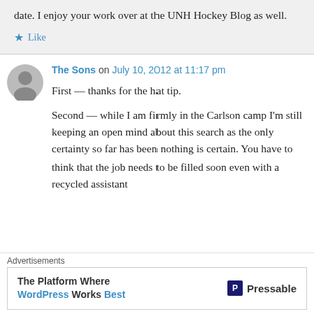date. I enjoy your work over at the UNH Hockey Blog as well.
★ Like
The Sons on July 10, 2012 at 11:17 pm
First — thanks for the hat tip.

Second — while I am firmly in the Carlson camp I'm still keeping an open mind about this search as the only certainty so far has been nothing is certain. You have to think that the job needs to be filled soon even with a recycled assistant
Advertisements
The Platform Where WordPress Works Best — Pressable